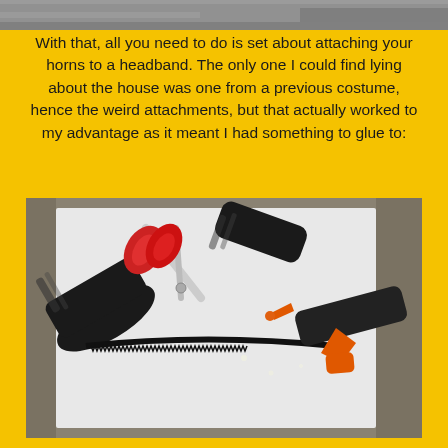[Figure (photo): Partial top image strip showing a textured surface, likely from a previous page's photo bleeding in at the top.]
With that, all you need to do is set about attaching your horns to a headband. The only one I could find lying about the house was one from a previous costume, hence the weird attachments, but that actually worked to my advantage as it meant I had something to glue to:
[Figure (photo): Photo showing black duct-tape wrapped horns laid on white paper next to a black headband with serrated edges, red-handled scissors, and a black-and-orange hot glue gun on a carpeted surface.]